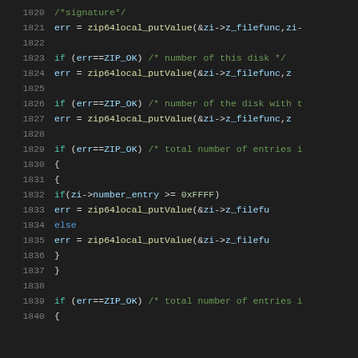[Figure (screenshot): Source code viewer showing C code lines 1820-1840 with syntax highlighting on dark background. Code involves zip64 local put value operations with conditional checks.]